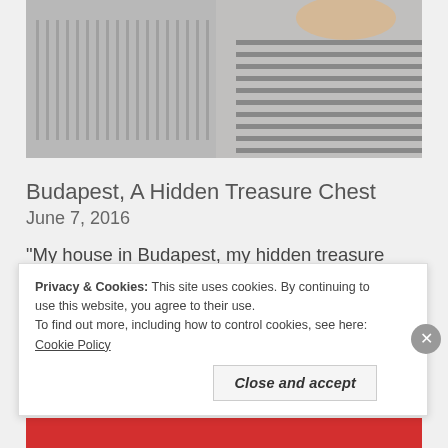[Figure (photo): A cropped photo showing what appears to be luggage or bags on the left and a person wearing a striped top on the right]
Budapest, A Hidden Treasure Chest
June 7, 2016
“My house in Budapest, my hidden treasure chest…” What a treasure chest this city is. With it’s gorgeous architecture, great people, low price tag, and of course, incredible food. If Budapest, Hungary wasn’t on your list of destinations, you’re going to want to add it now… …
Privacy & Cookies: This site uses cookies. By continuing to use this website, you agree to their use.
To find out more, including how to control cookies, see here: Cookie Policy
Close and accept